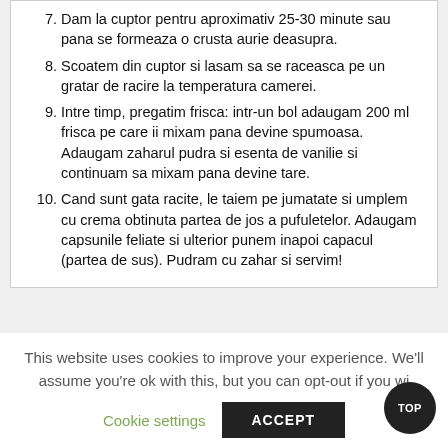7. Dam la cuptor pentru aproximativ 25-30 minute sau pana se formeaza o crusta aurie deasupra.
8. Scoatem din cuptor si lasam sa se raceasca pe un gratar de racire la temperatura camerei.
9. Intre timp, pregatim frisca: intr-un bol adaugam 200 ml frisca pe care ii mixam pana devine spumoasa. Adaugam zaharul pudra si esenta de vanilie si continuam sa mixam pana devine tare.
10. Cand sunt gata racite, le taiem pe jumatate si umplem cu crema obtinuta partea de jos a pufuletelor. Adaugam capsunile feliate si ulterior punem inapoi capacul (partea de sus). Pudram cu zahar si servim!
This website uses cookies to improve your experience. We'll assume you're ok with this, but you can opt-out if you wi
Cookie settings
ACCEPT
TOP